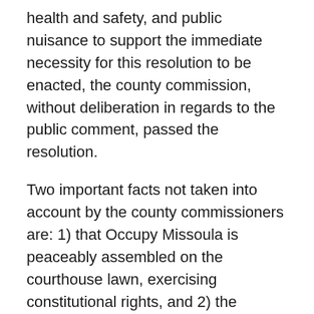health and safety, and public nuisance to support the immediate necessity for this resolution to be enacted, the county commission, without deliberation in regards to the public comment, passed the resolution.
Two important facts not taken into account by the county commissioners are: 1) that Occupy Missoula is peaceably assembled on the courthouse lawn, exercising constitutional rights, and 2) the encampment is working to save the city and county tax payers money through promoting the peace and providing human services to those in need. In addition, tax expenditures for costly public meetings likely could be avoided through local officials' democratic participation in a General Assembly.
Many of those who spoke at the meeting described positive solutions to address the existing sanitation issues